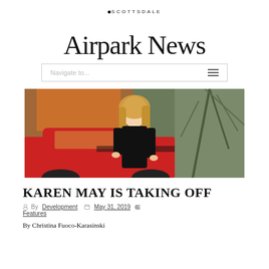Scottsdale Airpark News
[Figure (screenshot): Navigation bar with 'Navigate to...' text and hamburger menu icon]
[Figure (photo): A woman in a black dress standing in front of a red classic car with orange flowers and yucca plants in the background]
KAREN MAY IS TAKING OFF
By Development   May 31, 2019   Features
By Christina Fuoco-Karasinski